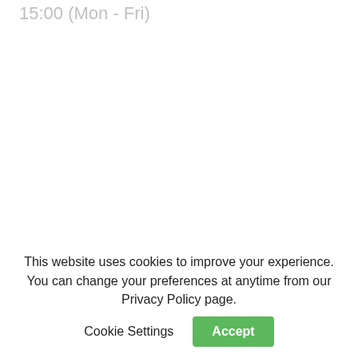15:00 (Mon - Fri)
[Figure (screenshot): Social share buttons: LinkedIn Share (teal), Facebook Share (blue rounded), Twitter Tweet (light blue rounded)]
This website uses cookies to improve your experience. You can change your preferences at anytime from our Privacy Policy page.   Cookie Settings   Accept